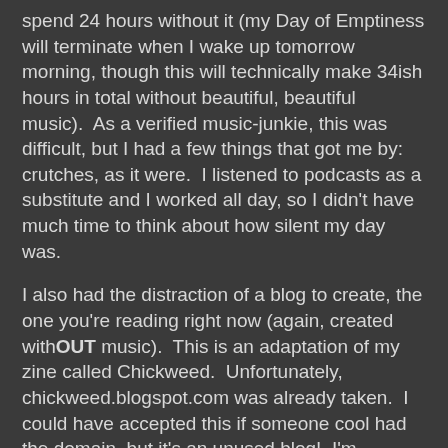spend 24 hours without it (my Day of Emptiness will terminate when I wake up tomorrow morning, though this will technically make 34ish hours in total without beautiful, beautiful music).  As a verified music-junkie, this was difficult, but I had a few things that got me by: crutches, as it were.  I listened to podcasts as a substitute and I worked all day, so I didn't have much time to think about how silent my day was.
I also had the distraction of a blog to create, the one you're reading right now (again, created withOUT music).  This is an adaptation of my zine called Chickweed.  Unfortunately, chickweed.blogspot.com was already taken.  I could have accepted this if someone cool had the domain, but it's an unused blog!  I'm outraged that I couldn't have the web address I wanted because someone is stagnant in that space!  Whatever, so the explanation for chickweedish.blogspot.com is that normally my zine would have an ish followed by a number, i.e. Chickweed: ISH5 or what-have-you.  Now, the blog IS the ish!  Get it?  Anyway, here it is.  Those who know my zine know what to expect.  My plan is to have multiple contributors (email me if you want to contribute: mixtressrae@yahoo.com) and to post my